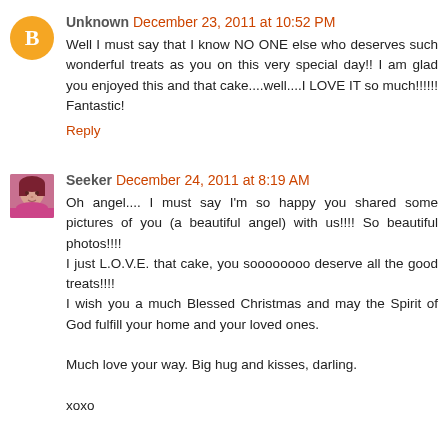Unknown  December 23, 2011 at 10:52 PM
Well I must say that I know NO ONE else who deserves such wonderful treats as you on this very special day!! I am glad you enjoyed this and that cake....well....I LOVE IT so much!!!!!! Fantastic!
Reply
Seeker  December 24, 2011 at 8:19 AM
Oh angel.... I must say I'm so happy you shared some pictures of you (a beautiful angel) with us!!!! So beautiful photos!!!!
I just L.O.V.E. that cake, you soooooooo deserve all the good treats!!!!
I wish you a much Blessed Christmas and may the Spirit of God fulfill your home and your loved ones.

Much love your way. Big hug and kisses, darling.

xoxo